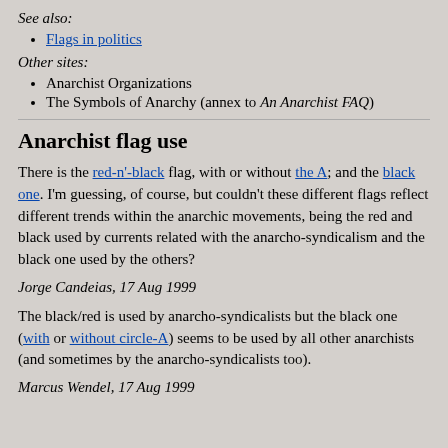See also:
Flags in politics
Other sites:
Anarchist Organizations
The Symbols of Anarchy (annex to An Anarchist FAQ)
Anarchist flag use
There is the red-n'-black flag, with or without the A; and the black one. I'm guessing, of course, but couldn't these different flags reflect different trends within the anarchic movements, being the red and black used by currents related with the anarcho-syndicalism and the black one used by the others?
Jorge Candeias, 17 Aug 1999
The black/red is used by anarcho-syndicalists but the black one (with or without circle-A) seems to be used by all other anarchists (and sometimes by the anarcho-syndicalists too).
Marcus Wendel, 17 Aug 1999